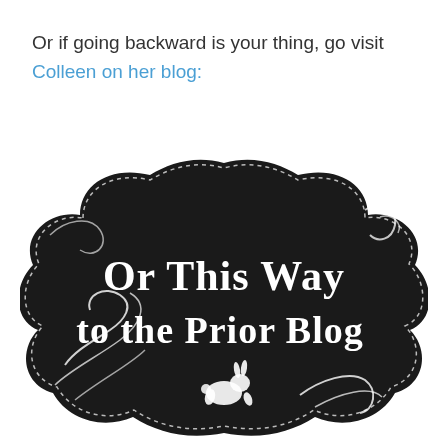Or if going backward is your thing, go visit Colleen on her blog:
[Figure (illustration): A dark chalkboard-style decorative sign with a scalloped/cloud-like black background with dashed white stitched border. White decorative swirl flourishes in corners. White text reads 'Or This Way to the Prior Blog' with a small white jumping rabbit/bunny silhouette at the bottom center.]